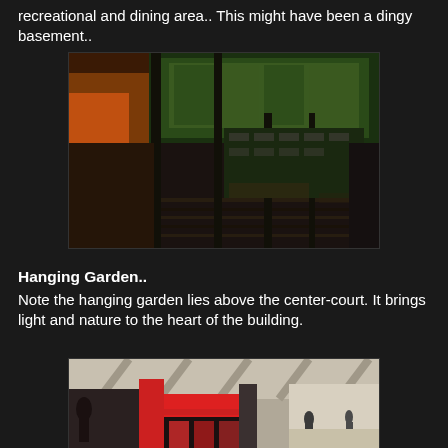recreational and dining area.. This might have been a dingy basement..
[Figure (photo): Interior photo of a modern building basement/lower level converted into a recreational and dining area, showing dark floors with stripes, glass walls, and green-lit ceiling area with dining tables visible through glass.]
Hanging Garden..
Note the hanging garden lies above the center-court. It brings light and nature to the heart of the building.
[Figure (photo): Interior photo of a modern building center-court showing a hanging garden area with people walking, red accents, columns, and bright ceiling with cross-beam patterns.]